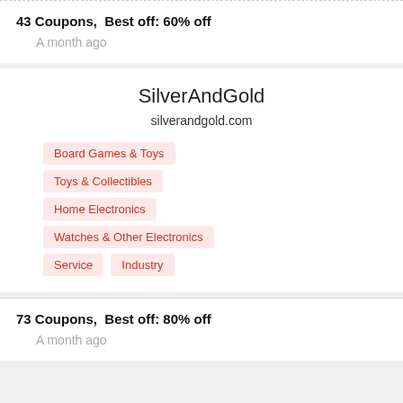43 Coupons,  Best off: 60% off
A month ago
SilverAndGold
silverandgold.com
Board Games & Toys
Toys & Collectibles
Home Electronics
Watches & Other Electronics
Service   Industry
73 Coupons,  Best off: 80% off
A month ago